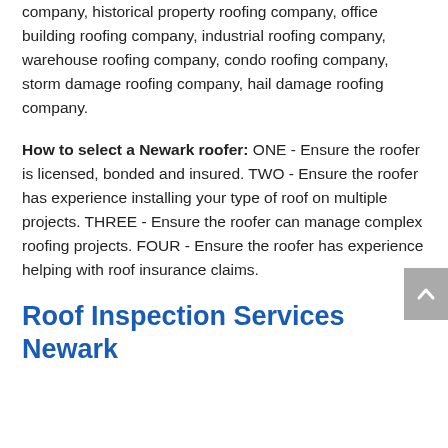company, historical property roofing company, office building roofing company, industrial roofing company, warehouse roofing company, condo roofing company, storm damage roofing company, hail damage roofing company.
How to select a Newark roofer: ONE - Ensure the roofer is licensed, bonded and insured. TWO - Ensure the roofer has experience installing your type of roof on multiple projects. THREE - Ensure the roofer can manage complex roofing projects. FOUR - Ensure the roofer has experience helping with roof insurance claims.
Roof Inspection Services Newark